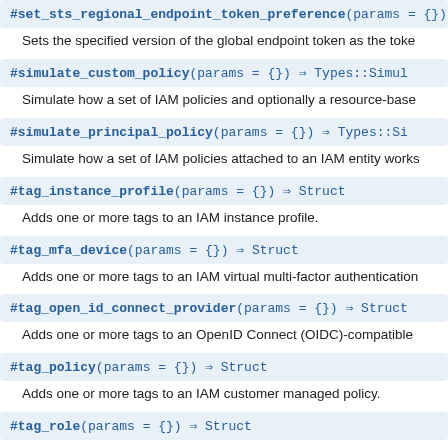#set_sts_regional_endpoint_token_preference(params = {}) ⇒ ...
Sets the specified version of the global endpoint token as the toke
#simulate_custom_policy(params = {}) ⇒ Types::Simul
Simulate how a set of IAM policies and optionally a resource-base
#simulate_principal_policy(params = {}) ⇒ Types::Si
Simulate how a set of IAM policies attached to an IAM entity works
#tag_instance_profile(params = {}) ⇒ Struct
Adds one or more tags to an IAM instance profile.
#tag_mfa_device(params = {}) ⇒ Struct
Adds one or more tags to an IAM virtual multi-factor authentication
#tag_open_id_connect_provider(params = {}) ⇒ Struct
Adds one or more tags to an OpenID Connect (OIDC)-compatible
#tag_policy(params = {}) ⇒ Struct
Adds one or more tags to an IAM customer managed policy.
#tag_role(params = {}) ⇒ Struct
Adds one or more tags to an IAM role.